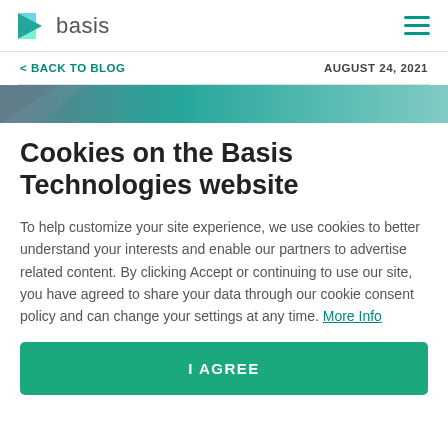basis
< BACK TO BLOG
AUGUST 24, 2021
[Figure (illustration): Teal and blue gradient banner strip with triangular design elements]
Cookies on the Basis Technologies website
To help customize your site experience, we use cookies to better understand your interests and enable our partners to advertise related content. By clicking Accept or continuing to use our site, you have agreed to share your data through our cookie consent policy and can change your settings at any time. More Info
I AGREE